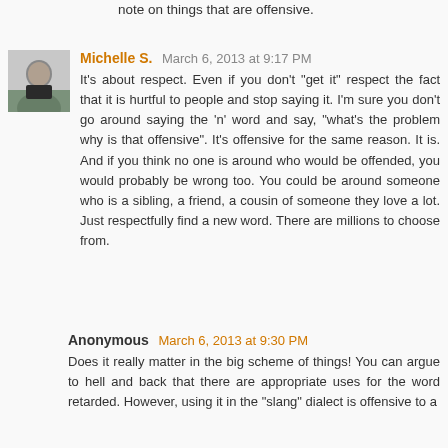note on things that are offensive.
Michelle S. March 6, 2013 at 9:17 PM
It's about respect. Even if you don't "get it" respect the fact that it is hurtful to people and stop saying it. I'm sure you don't go around saying the 'n' word and say, "what's the problem why is that offensive". It's offensive for the same reason. It is. And if you think no one is around who would be offended, you would probably be wrong too. You could be around someone who is a sibling, a friend, a cousin of someone they love a lot. Just respectfully find a new word. There are millions to choose from.
Anonymous March 6, 2013 at 9:30 PM
Does it really matter in the big scheme of things! You can argue to hell and back that there are appropriate uses for the word retarded. However, using it in the "slang" dialect is offensive to a